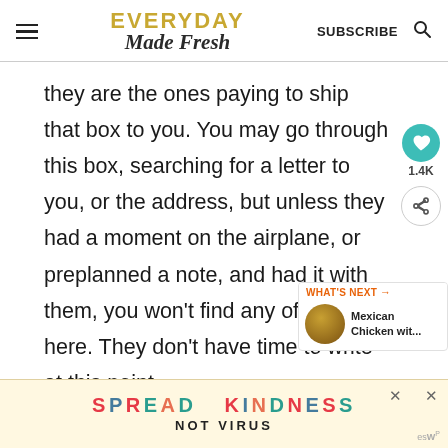EVERYDAY Made Fresh | SUBSCRIBE
they are the ones paying to ship that box to you. You may go through this box, searching for a letter to you, or the address, but unless they had a moment on the airplane, or preplanned a note, and had it with them, you won't find any of that here. They don't have time to write at this point
[Figure (other): Heart/like button showing 1.4K likes and a share button on the right side]
[Figure (other): What's Next widget showing Mexican Chicken wit... recipe thumbnail]
[Figure (other): Ad banner: SPREAD KINDNESS / NOT VIRUS in colorful letters on light yellow background]